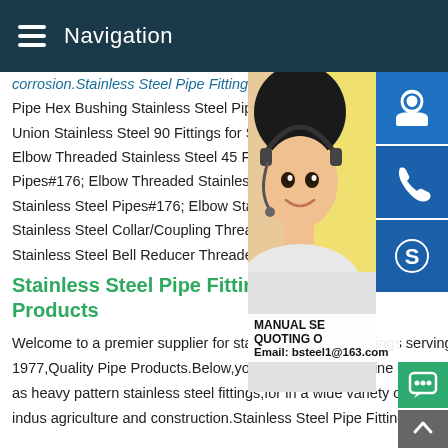Navigation
corrosion.Stainless Steel Pipe Fittings 4 3
Pipe Hex Bushing Stainless Steel Pipe Plug
Union Stainless Steel 90 Fittings for Stainless
Elbow Threaded Stainless Steel 45 Fittings for
Pipes#176; Elbow Threaded Stainless Steel
Stainless Steel Pipes#176; Elbow Stainless
Stainless Steel Collar/Coupling Threaded
Stainless Steel Bell Reducer Threaded Sta
Stainless Steel Pipe Fittings - Products
Welcome to a premier supplier for stainless steel pipe fittings serving North America since 1977,Quality Pipe Products.Below,youll find a complete line of 304 316 stainless pipe fittings,as well as heavy pattern stainless steel fittings,for in a wide variety of industries from petroleum and heavy indu agriculture and construction.Stainless Steel Pipe Fittings - Qu
[Figure (photo): Woman with headset/headphones smiling, customer service representative, background is warm yellow/golden tones. Overlaid with contact icons (chat, phone, Skype) and text: MANUAL SERVICE, QUOTING O, Email: bsteel1@163.com]